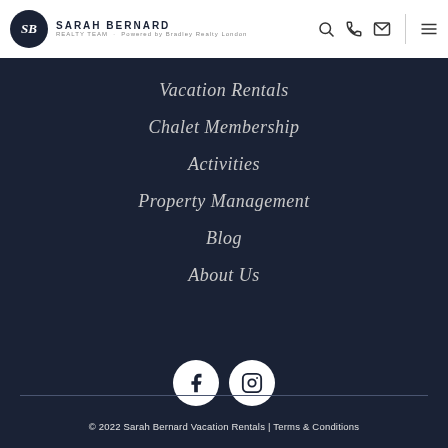Sarah Bernard Realty Team — navigation header with logo and icons
Vacation Rentals
Chalet Membership
Activities
Property Management
Blog
About Us
[Figure (logo): Facebook and Instagram social media icon buttons]
© 2022 Sarah Bernard Vacation Rentals | Terms & Conditions